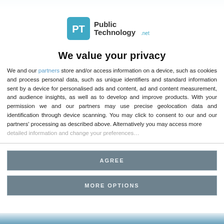[Figure (logo): PublicTechnology.net logo with teal speech bubble icon and 'PT' letters]
We value your privacy
We and our partners store and/or access information on a device, such as cookies and process personal data, such as unique identifiers and standard information sent by a device for personalised ads and content, ad and content measurement, and audience insights, as well as to develop and improve products. With your permission we and our partners may use precise geolocation data and identification through device scanning. You may click to consent to our and our partners' processing as described above. Alternatively you may access more detailed information and change your preferences before consenting or to refuse consenting.